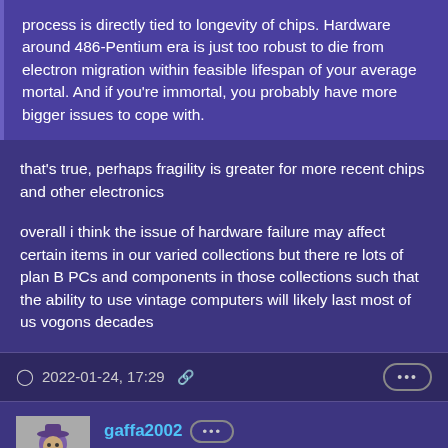process is directly tied to longevity of chips. Hardware around 486-Pentium era is just too robust to die from electron migration within feasible lifespan of your average mortal. And if you're immortal, you probably have more bigger issues to cope with.
that's true, perhaps fragility is greater for more recent chips and other electronics
overall i think the issue of hardware failure may affect certain items in our varied collections but there re lots of plan B PCs and components in those collections such that the ability to use vintage computers will likely last most of us vogons decades
2022-01-24, 17:29
gaffa2002
Member